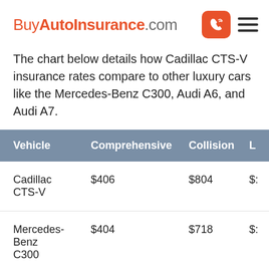BuyAutoInsurance.com
The chart below details how Cadillac CTS-V insurance rates compare to other luxury cars like the Mercedes-Benz C300, Audi A6, and Audi A7.
| Vehicle | Comprehensive | Collision | L |
| --- | --- | --- | --- |
| Cadillac CTS-V | $406 | $804 | $: |
| Mercedes-Benz C300 | $404 | $718 | $: |